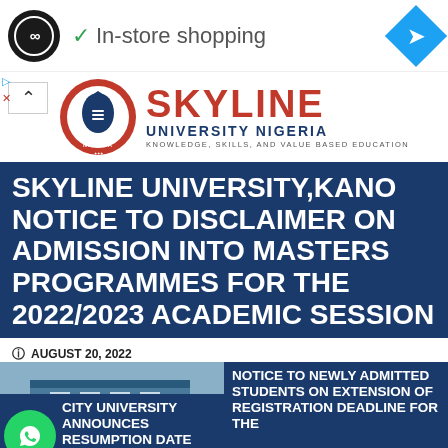[Figure (screenshot): Advertisement bar with circular black logo with infinity-like symbol, checkmark and 'In-store shopping' text, blue diamond navigation icon on right]
[Figure (logo): Skyline University Nigeria logo with circular crest in red and blue, large red SKYLINE text, UNIVERSITY NIGERIA subtitle, tagline: KNOWLEDGE, SKILLS, AND VALUE BASED EDUCATION]
SKYLINE UNIVERSITY,KANO NOTICE TO DISCLAIMER ON ADMISSION INTO MASTERS PROGRAMMES FOR THE 2022/2023 ACADEMIC SESSION
AUGUST 20, 2022
CITY UNIVERSITY ANNOUNCES RESUMPTION DATE FOR
NOTICE TO NEWLY ADMITTED STUDENTS ON EXTENSION OF REGISTRATION DEADLINE FOR THE